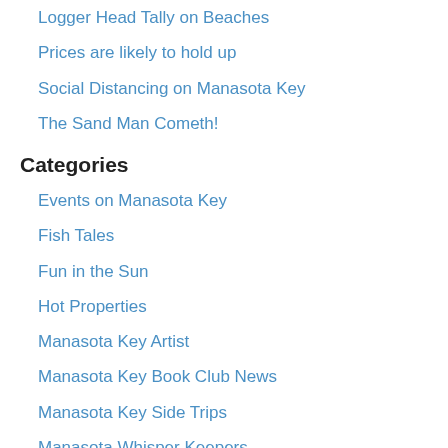Logger Head Tally on Beaches
Prices are likely to hold up
Social Distancing on Manasota Key
The Sand Man Cometh!
Categories
Events on Manasota Key
Fish Tales
Fun in the Sun
Hot Properties
Manasota Key Artist
Manasota Key Book Club News
Manasota Key Side Trips
Manasota Whisper Keepers
New listings
News